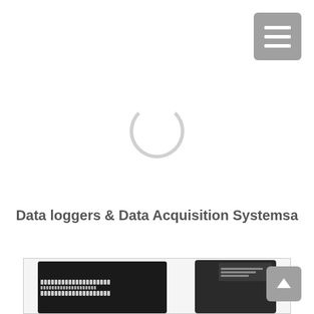[Figure (screenshot): Hamburger menu button (three horizontal white lines on grey rounded square background) in top-right corner]
[Figure (other): Loading spinner circle (light grey ring) centered in upper portion of page]
Data loggers & Data Acquisition Systemsa
[Figure (photo): Two data acquisition devices: left is a multi-port terminal board (black rectangular circuit board with many connector pins), right is a handheld black data logger unit with a white connector cable, shown partially at bottom of page inside a light bordered rectangle]